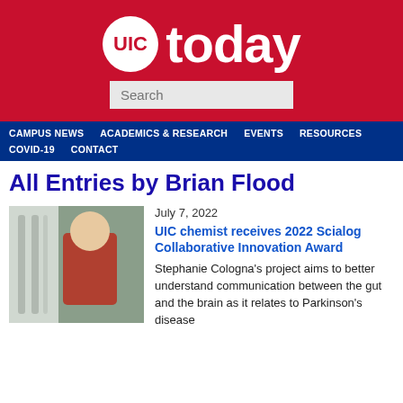[Figure (logo): UIC Today website header with red background, UIC circular logo in white, and 'today' in large white text]
CAMPUS NEWS   ACADEMICS & RESEARCH   EVENTS   RESOURCES   COVID-19   CONTACT
All Entries by Brian Flood
[Figure (photo): Photo of a woman in a red sweater wearing blue gloves working in a chemistry laboratory]
July 7, 2022
UIC chemist receives 2022 Scialog Collaborative Innovation Award
Stephanie Cologna's project aims to better understand communication between the gut and the brain as it relates to Parkinson's disease